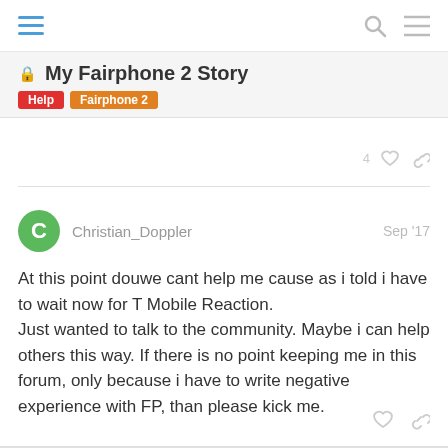My Fairphone 2 Story | Help | Fairphone 2
My Fairphone 2 Story
Christian_Doppler  Sep '17
At this point douwe cant help me cause as i told i have to wait now for T Mobile Reaction.
Just wanted to talk to the community. Maybe i can help others this way. If there is no point keeping me in this forum, only because i have to write negative experience with FP, than please kick me.